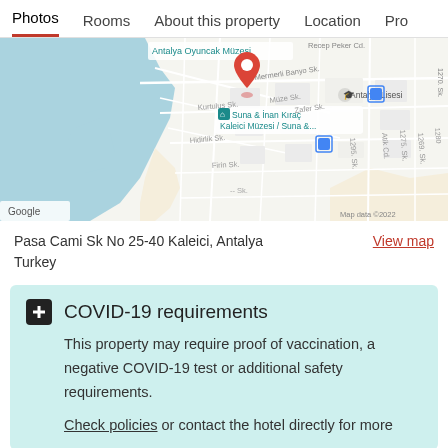Photos  Rooms  About this property  Location  Pro
[Figure (map): Google Maps screenshot showing Kaleici area of Antalya, Turkey. A red location pin is placed near Suna & Inan Kirac Kaleici Muzesi. Nearby labels include Antalya Oyuncak Muzesi, Antalya Lisesi, Mermerli Banyo Sk, Kurtulus Sk, Zafer Sk, Muze Sk, Hidirlik Sk, Firin Sk, 1295 Sk, Atik Cd, 1275 Sk, 1269 Sk, 1280 Sk, 1270 Sk, Recep Peker Cd. Google logo and Map data 2022 credit at bottom.]
Pasa Cami Sk No 25-40 Kaleici, Antalya
Turkey
View map
COVID-19 requirements
This property may require proof of vaccination, a negative COVID-19 test or additional safety requirements.
Check policies or contact the hotel directly for more